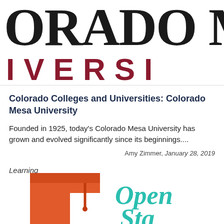[Figure (logo): Colorado Mesa University logo with large black serif text 'ORADO M' on top and dark red sans-serif text 'IVERSI' below, partially cropped]
Colorado Colleges and Universities: Colorado Mesa University
Founded in 1925, today's Colorado Mesa University has grown and evolved significantly since its beginnings....
Amy Zimmer, January 28, 2019
Learning
[Figure (logo): Partial view of Open Stax logo with orange graduation cap icon on left and teal cursive 'Open' text on right, cropped at bottom]